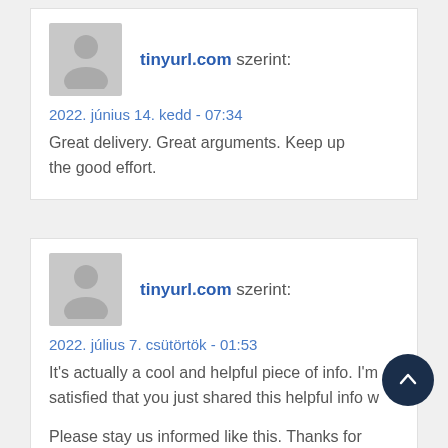tinyurl.com szerint:
2022. június 14. kedd - 07:34
Great delivery. Great arguments. Keep up the good effort.
tinyurl.com szerint:
2022. július 7. csütörtök - 01:53
It's actually a cool and helpful piece of info. I'm satisfied that you just shared this helpful info w…
Please stay us informed like this. Thanks for sharing.